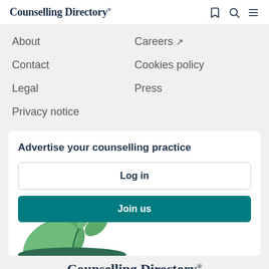Counselling Directory
About
Careers
Contact
Cookies policy
Legal
Press
Privacy notice
Advertise your counselling practice
Log in
Join us
[Figure (illustration): Green plant/foliage illustration at the bottom of the card]
Counselling Directory